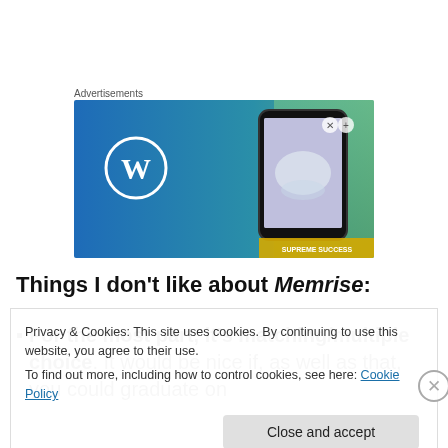Advertisements
[Figure (screenshot): Advertisement banner showing WordPress logo on a blue/teal gradient background with a smartphone on the right side]
Things I don't like about Memrise:
For the most part, it's matching/multiple choice. It would be nice if, as well as that, you could graduate on
Privacy & Cookies: This site uses cookies. By continuing to use this website, you agree to their use.
To find out more, including how to control cookies, see here: Cookie Policy
Close and accept